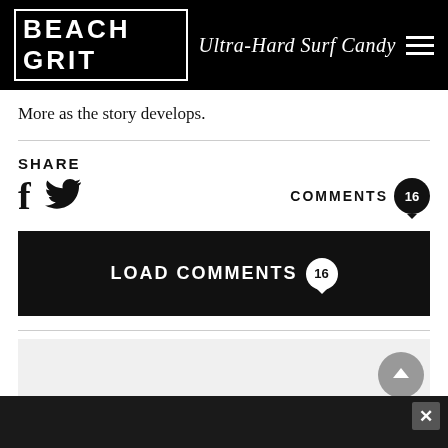BEACH GRIT Ultra-Hard Surf Candy
More as the story develops.
SHARE
COMMENTS 16
LOAD COMMENTS 16